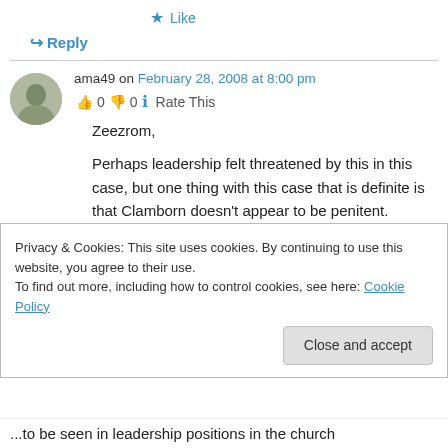★ Like
↪ Reply
ama49 on February 28, 2008 at 8:00 pm
👍 0 👎 0 ℹ Rate This
Zeezrom,

Perhaps leadership felt threatened by this in this case, but one thing with this case that is definite is that Clamborn doesn't appear to be penitent.
Privacy & Cookies: This site uses cookies. By continuing to use this website, you agree to their use.
To find out more, including how to control cookies, see here: Cookie Policy
Close and accept
...to be seen in leadership positions in the church